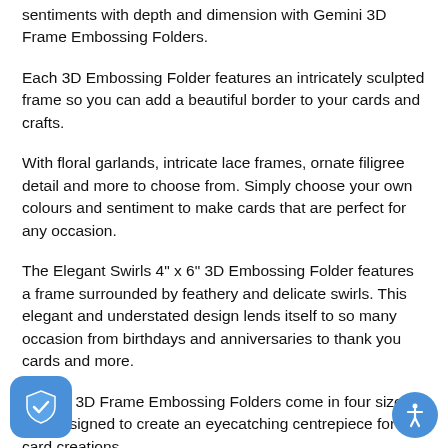sentiments with depth and dimension with Gemini 3D Frame Embossing Folders.
Each 3D Embossing Folder features an intricately sculpted frame so you can add a beautiful border to your cards and crafts.
With floral garlands, intricate lace frames, ornate filigree detail and more to choose from. Simply choose your own colours and sentiment to make cards that are perfect for any occasion.
The Elegant Swirls 4" x 6" 3D Embossing Folder features a frame surrounded by feathery and delicate swirls. This elegant and understated design lends itself to so many occasion from birthdays and anniversaries to thank you cards and more.
Gemini 3D Frame Embossing Folders come in four sizes, designed to create an eyecatching centrepiece for card creations.